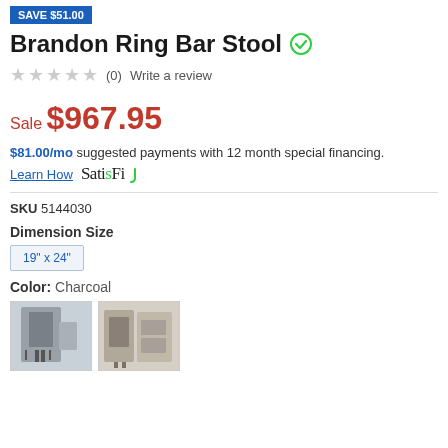SAVE $51.00
Brandon Ring Bar Stool
(0)  Write a review
Sale $967.95
$81.00/mo suggested payments with 12 month special financing.
Learn How  SatisFi
SKU 5144030
Dimension Size
19" x 24"
Color: Charcoal
[Figure (photo): Two thumbnail images of the Brandon Ring Bar Stool in Charcoal color]